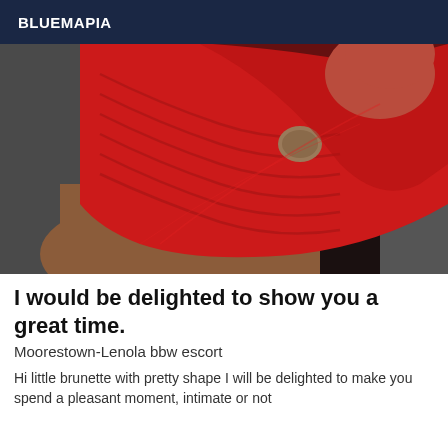BLUEMAPIA
[Figure (photo): Close-up photo of a person wearing a red ribbed top/dress against a dark background]
I would be delighted to show you a great time.
Moorestown-Lenola bbw escort
Hi little brunette with pretty shape I will be delighted to make you spend a pleasant moment, intimate or not